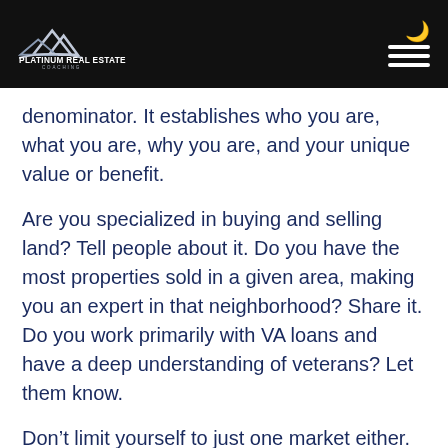Platinum Real Estate Coaching
denominator. It establishes who you are, what you are, why you are, and your unique value or benefit.
Are you specialized in buying and selling land? Tell people about it. Do you have the most properties sold in a given area, making you an expert in that neighborhood? Share it. Do you work primarily with VA loans and have a deep understanding of veterans? Let them know.
Don’t limit yourself to just one market either. Be as unique and specific as you can to attract the widest range of clients. Address different markets and have